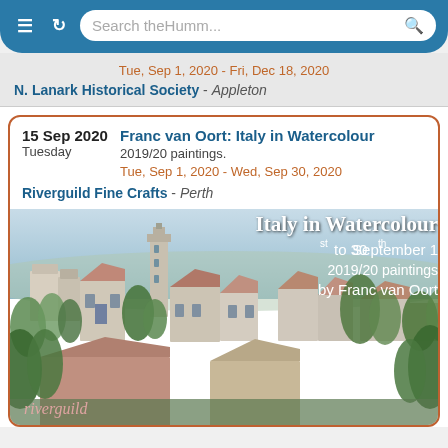Search theHumm...
Tue, Sep 1, 2020 - Fri, Dec 18, 2020
N. Lanark Historical Society - Appleton
15 Sep 2020 Tuesday
Franc van Oort: Italy in Watercolour
2019/20 paintings.
Tue, Sep 1, 2020 - Wed, Sep 30, 2020
Riverguild Fine Crafts - Perth
[Figure (illustration): Watercolour painting of an Italian hilltop village with terracotta rooftops, a church tower, and trees. Overlaid text reads: Italy in Watercolour / September 1st to 30th / 2019/20 paintings / by Franc van Oort. Riverguild logo in bottom left.]